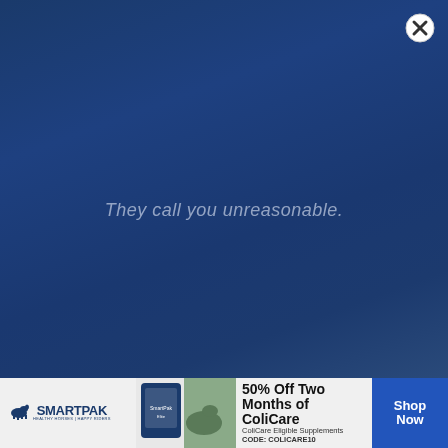[Figure (photo): Dark blue gradient background advertisement with a close (X) button in the top right corner]
They call you unreasonable.
[Figure (photo): SmartPak banner advertisement showing a horse and rider, promoting 50% Off Two Months of ColiCare with code COLICARE10 and a Shop Now button]